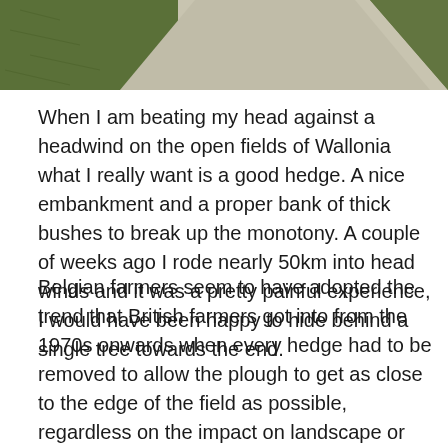[Figure (photo): Partial view of a road or path with green grass/fields on the side, viewed from above or at an angle. Only the bottom portion of the image is visible.]
When I am beating my head against a headwind on the open fields of Wallonia what I really want is a good hedge. A nice embankment and a proper bank of thick bushes to break up the monotony. A couple of weeks ago I rode nearly 50km into head winds and it was a pretty painful experience, I would have been happy to hide behind a single tree towards the end.
Belgian farmers seem to have adopted the trend that British farmers got into from the 1970s onwards when every hedge had to be removed to allow the plough to get as close to the edge of the field as possible, regardless on the impact on landscape or wildlife, partly encouraged by EU subsidies that used to pay subsidies to farmers by the